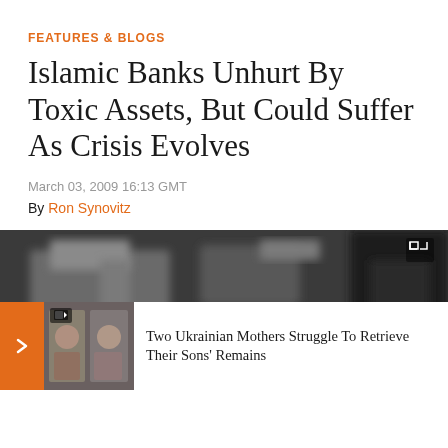FEATURES & BLOGS
Islamic Banks Unhurt By Toxic Assets, But Could Suffer As Crisis Evolves
March 03, 2009 16:13 GMT
By Ron Synovitz
[Figure (photo): Blurred close-up photograph of a cash register or counting machine with currency bills on a dark surface]
Two Ukrainian Mothers Struggle To Retrieve Their Sons' Remains